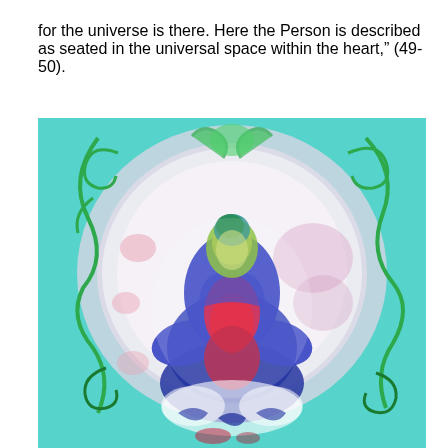for the universe is there. Here the Person is described as seated in the universal space within the heart," (49-50).
[Figure (illustration): A colorful painting or mixed-media artwork depicting a meditating figure in blue and red hues, seated in lotus position, surrounded by a luminous oval aura of white and pink, with swirling green vines and a teal/turquoise background.]